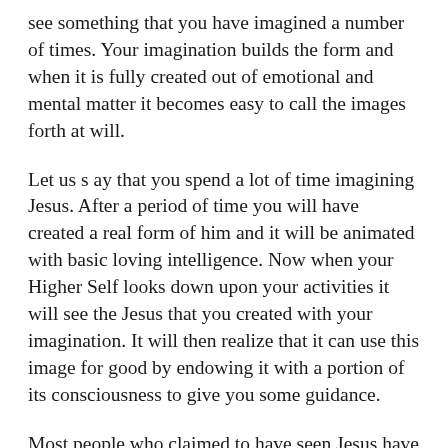see something that you have imagined a number of times. Your imagination builds the form and when it is fully created out of emotional and mental matter it becomes easy to call the images forth at will.
Let us s ay that you spend a lot of time imagining Jesus. After a period of time you will have created a real form of him and it will be animated with basic loving intelligence. Now when your Higher Self looks down upon your activities it will see the Jesus that you created with your imagination. It will then realize that it can use this image for good by endowing it with a portion of its consciousness to give you some guidance.
Most people who claimed to have seen Jesus have not seen the real thing, but a thoughtform created by their own power of imagination. If it is animated by one's own consciousness then Jesus will relate standard platitudes that will contain nothing new. On the other hand, if the soul decides to animate it then the seeker